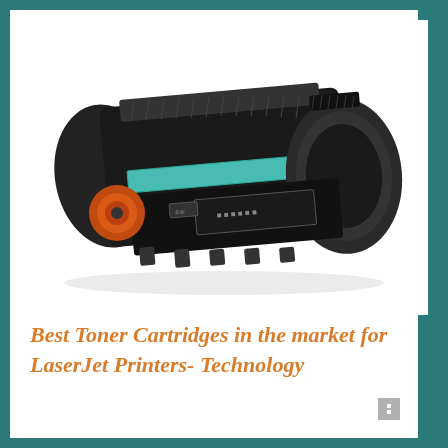[Figure (photo): A black laser toner cartridge for LaserJet printers, shown at an angle. The cartridge is mostly black with an orange/red circular component visible on the left side and a cyan/teal colored drum strip visible in the middle section. There are Chinese characters on a label on the front face.]
Best Toner Cartridges in the market for LaserJet Printers- Technology